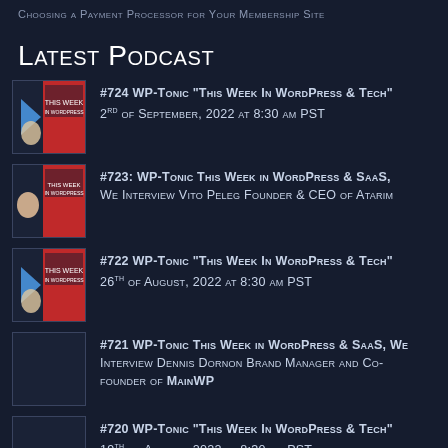Choosing a Payment Processor for Your Membership Site
Latest Podcast
#724 WP-Tonic "This Week In WordPress & Tech" 2nd of September, 2022 at 8:30 am PST
#723: WP-Tonic This Week in WordPress & SaaS, We Interview Vito Peleg Founder & CEO of Atarim
#722 WP-Tonic "This Week In WordPress & Tech" 26th of August, 2022 at 8:30 am PST
#721 WP-Tonic This Week in WordPress & SaaS, We Interview Dennis Dornon Brand Manager and Co-founder of MainWP
#720 WP-Tonic "This Week In WordPress & Tech" 19th of August, 2022 at 8:30 am PST